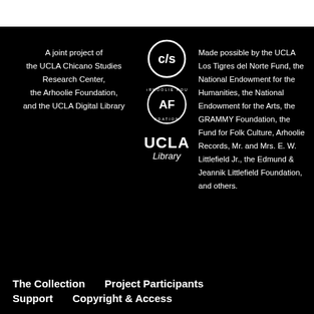A joint project of the UCLA Chicano Studies Research Center, the Arhoolie Foundation, and the UCLA Digital Library
[Figure (logo): C/S circular logo (Chicano Studies)]
[Figure (logo): Arhoolie Foundation circular logo with AF initials]
[Figure (logo): UCLA Library text logo]
Made possible by the UCLA Los Tigres del Norte Fund, the National Endowment for the Humanities, the National Endowment for the Arts, the GRAMMY Foundation, the Fund for Folk Culture, Arhoolie Records, Mr. and Mrs. E. W. Littlefield Jr., the Edmund & Jeannik Littlefield Foundation, and others.
The Collection   Project Participants   Support   Copyright & Access